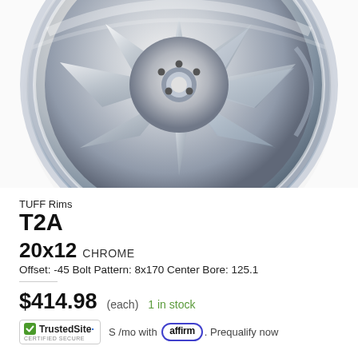[Figure (photo): Chrome alloy wheel rim (TUFF T2A) photographed from a slight angle, showing multi-spoke chrome finish, bottom portion of the wheel visible.]
TUFF Rims
T2A
20x12 CHROME
Offset: -45 Bolt Pattern: 8x170 Center Bore: 125.1
$414.98  (each)  1 in stock
S /mo with affirm. Prequalify now